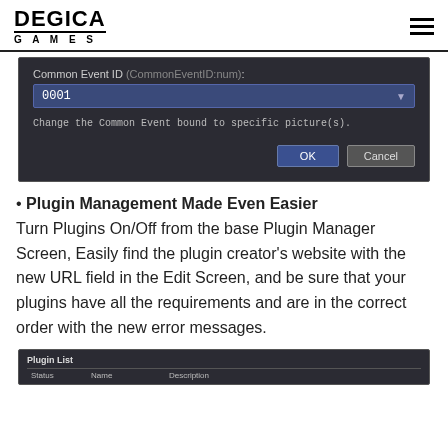DEGICA GAMES
[Figure (screenshot): Software dialog box showing 'Common Event ID (CommonEventID:num):' with a dropdown set to '0001' and text 'Change the Common Event bound to specific picture(s).' with OK and Cancel buttons.]
Plugin Management Made Even Easier Turn Plugins On/Off from the base Plugin Manager Screen, Easily find the plugin creator's website with the new URL field in the Edit Screen, and be sure that your plugins have all the requirements and are in the correct order with the new error messages.
[Figure (screenshot): Plugin List table with columns: Status, Name, Description.]